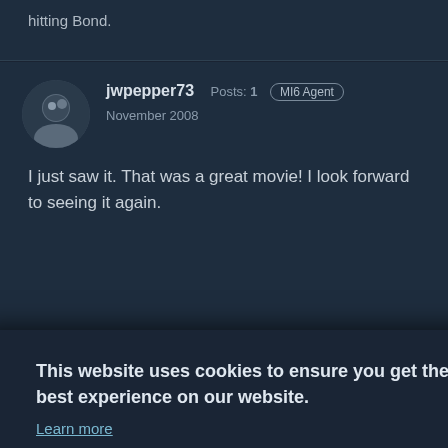hitting Bond.
jwpepper73  Posts: 1  MI6 Agent
November 2008
I just saw it. That was a great movie! I look forward to seeing it again.
00 Agent  California  Posts: 452  MI6 Agent
This website uses cookies to ensure you get the best experience on our website.
Learn more
Decline
Allow cookies
watching Bond until the middle of the movie. I think it was